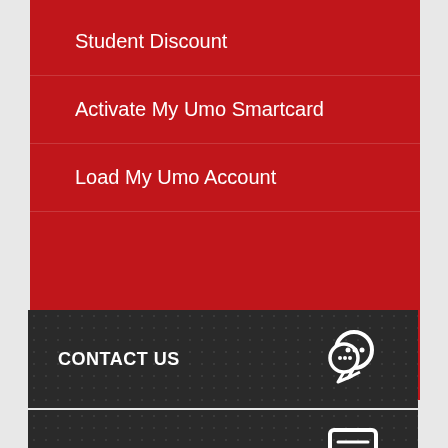Student Discount
Activate My Umo Smartcard
Load My Umo Account
CONTACT US
NOTIFICATIONS